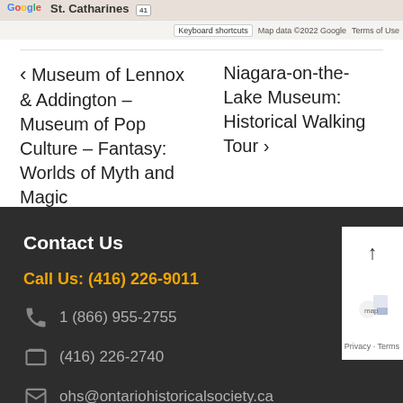[Figure (screenshot): Google Maps screenshot showing St. Catharines area with keyboard shortcuts and map data copyright notice]
< Museum of Lennox & Addington – Museum of Pop Culture – Fantasy: Worlds of Myth and Magic
Niagara-on-the-Lake Museum: Historical Walking Tour >
Contact Us
Call Us: (416) 226-9011
1 (866) 955-2755
(416) 226-2740
ohs@ontariohistoricalsociety.ca